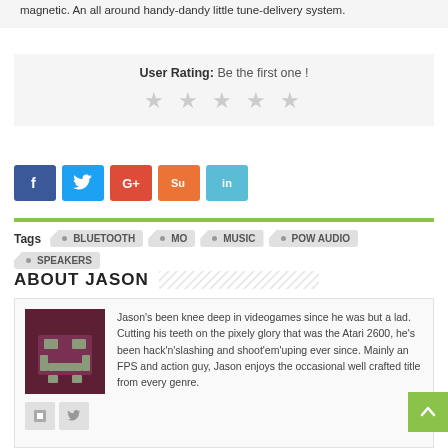magnetic. An all around handy-dandy little tune-delivery system.
User Rating: Be the first one !
[Figure (other): Five empty star rating icons]
[Figure (other): Social media share buttons: Facebook, Twitter, Google+, StumbleUpon, LinkedIn]
Tags  BLUETOOTH  MO  MUSIC  POW AUDIO  SPEAKERS
ABOUT JASON
[Figure (illustration): Avatar icon with stylized bracket/robot face on dark maroon background]
Jason's been knee deep in videogames since he was but a lad. Cutting his teeth on the pixely glory that was the Atari 2600, he's been hack'n'slashing and shoot'em'uping ever since. Mainly an FPS and action guy, Jason enjoys the occasional well crafted title from every genre.